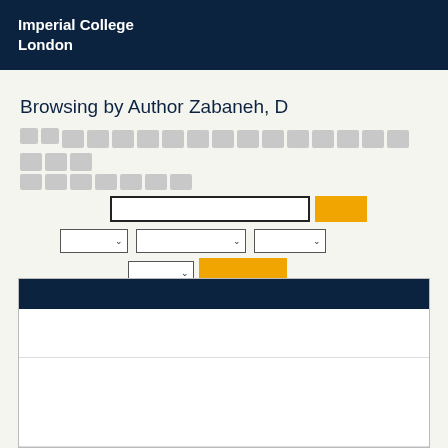Imperial College London
Browsing by Author Zabaneh, D
[Figure (screenshot): Letter navigation buttons (A-Z) as grey rectangular buttons, arranged in two rows]
[Figure (screenshot): Search input field with orange Go button, and filter dropdowns (order, rpp, etc), and an orange Update button]
|  |
| --- |
|  |
|  |